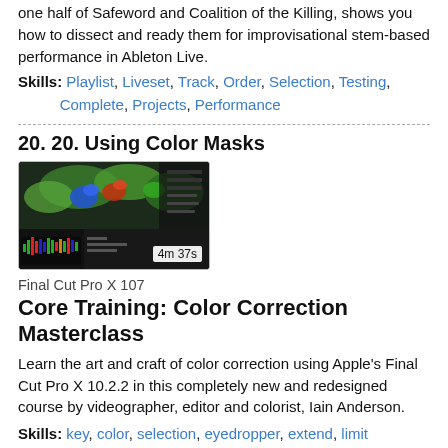one half of Safeword and Coalition of the Killing, shows you how to dissect and ready them for improvisational stem-based performance in Ableton Live.
Skills: Playlist, Liveset, Track, Order, Selection, Testing, Complete, Projects, Performance
20. 20. Using Color Masks
[Figure (screenshot): Thumbnail image of video lesson showing color grading interface with colorful birds, waveform display at bottom, duration badge showing 4m 37s]
Final Cut Pro X 107
Core Training: Color Correction Masterclass
Learn the art and craft of color correction using Apple's Final Cut Pro X 10.2.2 in this completely new and redesigned course by videographer, editor and colorist, Iain Anderson.
Skills: key, color, selection, eyedropper, extend, limit
15. 15. Correcting with a Color Mask